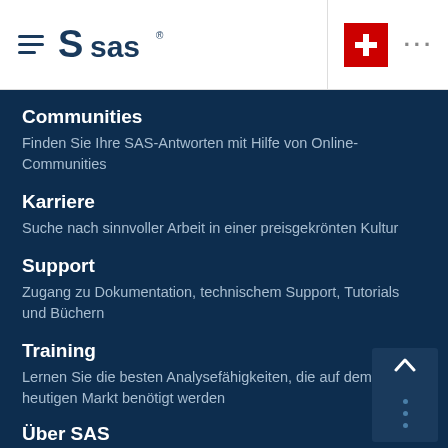SAS navigation header with hamburger menu, SAS logo, Swiss flag icon, and more options
Communities
Finden Sie Ihre SAS-Antworten mit Hilfe von Online-Communities
Karriere
Suche nach sinnvoller Arbeit in einer preisgekrönten Kultur
Support
Zugang zu Dokumentation, technischem Support, Tutorials und Büchern
Training
Lernen Sie die besten Analysefähigkeiten, die auf dem heutigen Markt benötigt werden
Über SAS
Entdecken Sie unsere Mitarbeiter, Leidenschaft und zukunftsweisende Technologie